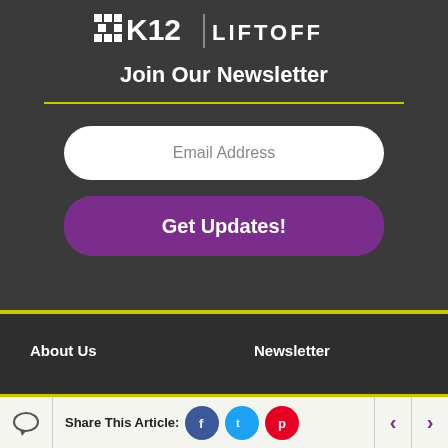[Figure (logo): K12 Liftoff logo in white/yellow on dark background]
Join Our Newsletter
Email Address
Get Updates!
About Us
Newsletter
Contact Us
Visit K12
Share This Article: